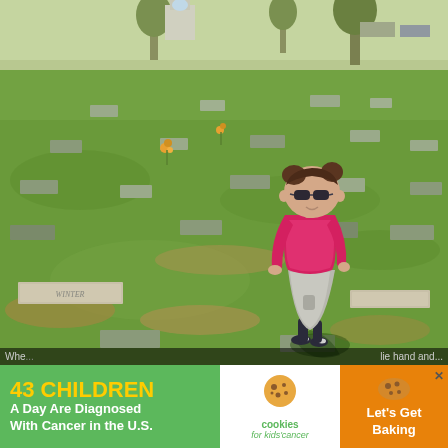[Figure (photo): A young toddler girl wearing a pink long-sleeve shirt, gray skirt, and sunglasses standing on green grass in a cemetery. Multiple grave markers (flat headstones) are visible in the grass. Trees and a fountain structure are visible in the background. The child casts a shadow on the grass.]
[Figure (infographic): Advertisement banner with green background on left reading '43 CHILDREN A Day Are Diagnosed With Cancer in the U.S.' in yellow and white text. Center shows Cookies for Kids' Cancer logo. Right side shows orange cookie image with 'Let's Get Baking' text. Far right is dark with X/close button.]
Whe...lie hand and...